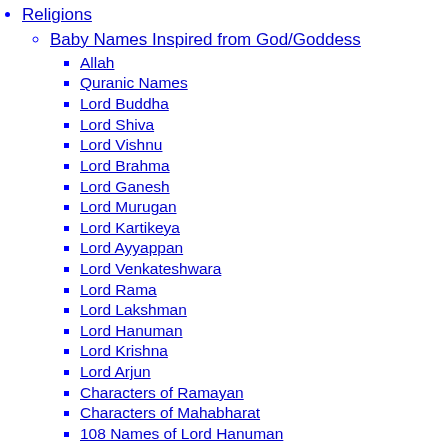Religions
Baby Names Inspired from God/Goddess
Allah
Quranic Names
Lord Buddha
Lord Shiva
Lord Vishnu
Lord Brahma
Lord Ganesh
Lord Murugan
Lord Kartikeya
Lord Ayyappan
Lord Venkateshwara
Lord Rama
Lord Lakshman
Lord Hanuman
Lord Krishna
Lord Arjun
Characters of Ramayan
Characters of Mahabharat
108 Names of Lord Hanuman
108 Names of Lord Vishnu
108 Names of Lord Krishna
108 Names of Lord Shiva
108 Names of Lord Ganesha